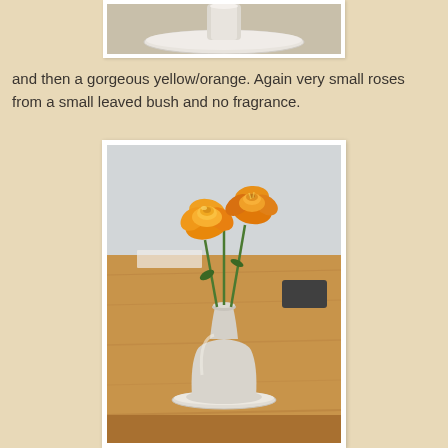[Figure (photo): Partial top view of a white ceramic vase/bottle on a white saucer, cropped at top of page]
and then a gorgeous yellow/orange. Again very small roses from a small leaved bush and no fragrance.
[Figure (photo): Yellow and orange small roses in a white ceramic bottle-shaped vase on a white saucer, placed on a wooden table with a light grey wall in the background]